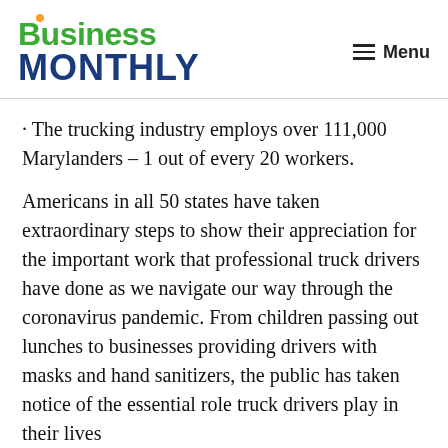Business Monthly | Menu
· The trucking industry employs over 111,000 Marylanders – 1 out of every 20 workers.
Americans in all 50 states have taken extraordinary steps to show their appreciation for the important work that professional truck drivers have done as we navigate our way through the coronavirus pandemic. From children passing out lunches to businesses providing drivers with masks and hand sanitizers, the public has taken notice of the essential role truck drivers play in their lives